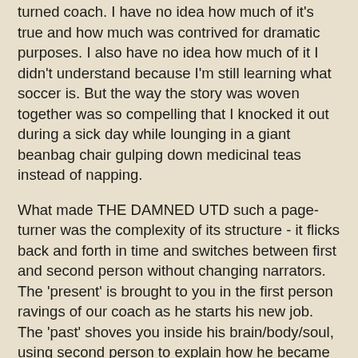turned coach. I have no idea how much of it's true and how much was contrived for dramatic purposes. I also have no idea how much of it I didn't understand because I'm still learning what soccer is. But the way the story was woven together was so compelling that I knocked it out during a sick day while lounging in a giant beanbag chair gulping down medicinal teas instead of napping.
What made THE DAMNED UTD such a page-turner was the complexity of its structure - it flicks back and forth in time and switches between first and second person without changing narrators. The 'present' is brought to you in the first person ravings of our coach as he starts his new job. The 'past' shoves you inside his brain/body/soul, using second person to explain how he became the insecure disaster that he is (and possibly asserting that you, fair reader, might have done the same). 'You' feel his career ending injury. 'You' feel his need to be loved and accepted. 'You' feel the hubris that pushes him to take the job coaching Leeds, his bitterest enemy, while the first person makes you wonder whether or not he's destroying the team on purpose.
The first person makes him. The second person...